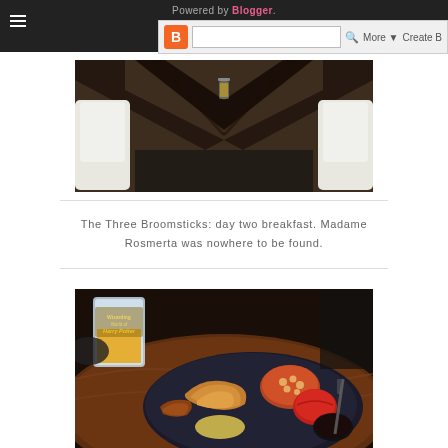Powered by Blogger. [Blogger navigation bar with hamburger menu, search, More, Create B]
[Figure (photo): Interior archway of The Three Broomsticks at Wizarding World of Harry Potter, showing dark wooden beams and a hanging lantern, with white snow-covered chairs visible on sides]
The Three Broomsticks: day two breakfast. Madame Rosmerta was nowhere to be found.
[Figure (photo): Breakfast plate at The Three Broomsticks showing croissant, baked beans, tomato, sausages, black pudding, and other breakfast items on a dark plate, alongside a Wizarding World of Harry Potter branded cup with orange juice on a wooden table]